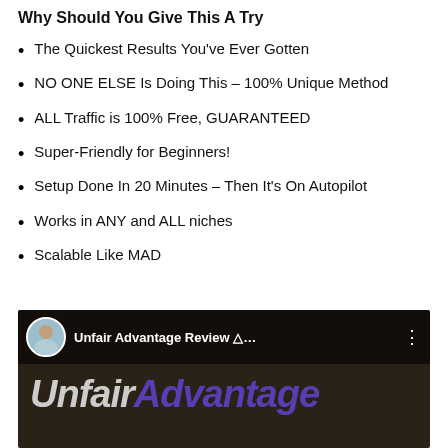Why Should You Give This A Try
The Quickest Results You've Ever Gotten
NO ONE ELSE Is Doing This – 100% Unique Method
ALL Traffic is 100% Free, GUARANTEED
Super-Friendly for Beginners!
Setup Done In 20 Minutes – Then It's On Autopilot
Works in ANY and ALL niches
Scalable Like MAD
[Figure (screenshot): YouTube video thumbnail for 'Unfair Advantage Review' showing a man in a hot tub as the avatar, the video title text, and 'UnfairAdvantage' branding text in large italic font on a dark brown/black background.]